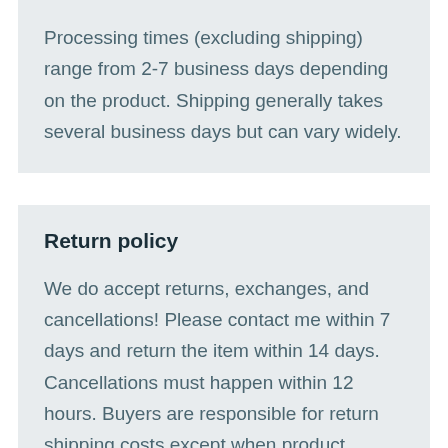Processing times (excluding shipping) range from 2-7 business days depending on the product. Shipping generally takes several business days but can vary widely.
Return policy
We do accept returns, exchanges, and cancellations! Please contact me within 7 days and return the item within 14 days. Cancellations must happen within 12 hours. Buyers are responsible for return shipping costs except when product arrived damaged or is the wrong item. If the item is